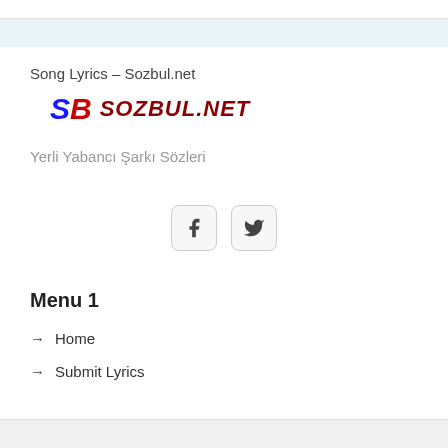Song Lyrics - Sozbul.net
[Figure (logo): SB Sozbul.net logo with blue italic SB letters and dark red italic SOZBUL.NET text]
Yerli Yabancı Şarkı Sözleri
[Figure (other): Facebook and Twitter social media icon buttons with rounded square borders]
Menu 1
→ Home
→ Submit Lyrics